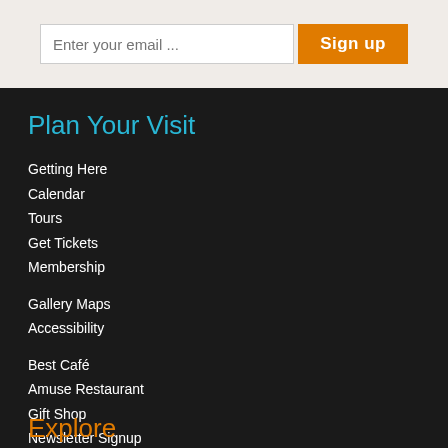Enter your email ...
Sign up
Plan Your Visit
Getting Here
Calendar
Tours
Get Tickets
Membership
Gallery Maps
Accessibility
Best Café
Amuse Restaurant
Gift Shop
Newsletter Signup
Explore (partial, cut off)